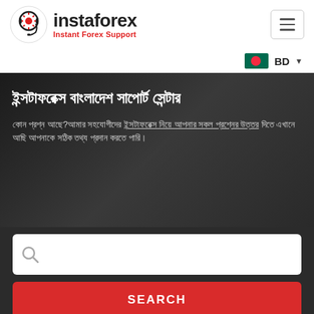[Figure (logo): InstaForex logo with headset icon and text 'instaforex Instant Forex Support']
[Figure (infographic): Bangladesh flag icon with country code 'BD' and dropdown arrow]
ইন্সটাফরেক্স বাংলাদেশ সাপোর্ট সেন্টার
কোন প্রশ্ন আছে?আমার সহযোগীদের ইন্সটাফরেক্স নিয়ে আপনার সকল প্রশ্নের উত্তর দিতে এখানে আছি আপনাকে সঠিক তথ্য প্রদান করতে পারি।
[Figure (screenshot): Search input box with magnifying glass icon]
SEARCH